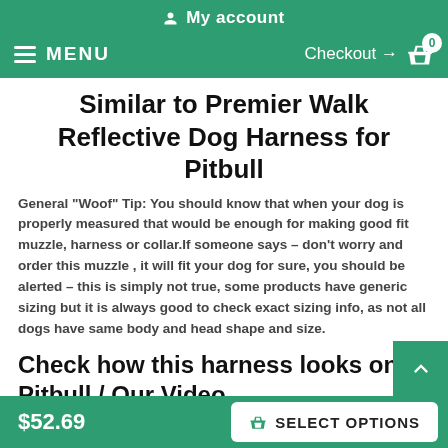My account
MENU   Checkout → 0
Similar to Premier Walk Reflective Dog Harness for Pitbull
General "Woof" Tip: You should know that when your dog is properly measured that would be enough for making good fit muzzle, harness or collar.If someone says – don't worry and order this muzzle , it will fit your dog for sure, you should be alerted – this is simply not true, some products have generic sizing but it is always good to check exact sizing info, as not all dogs have same body and head shape and size.
Check how this harness looks on Pitbull / Our Video
$52.69   SELECT OPTIONS